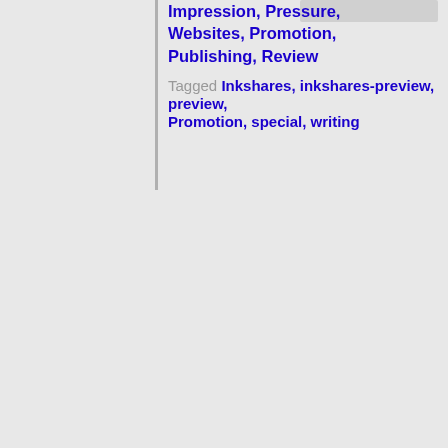Impression, Pressure, Websites, Promotion, Publishing, Review
Tagged Inkshares, inkshares-preview, preview, Promotion, special, writing